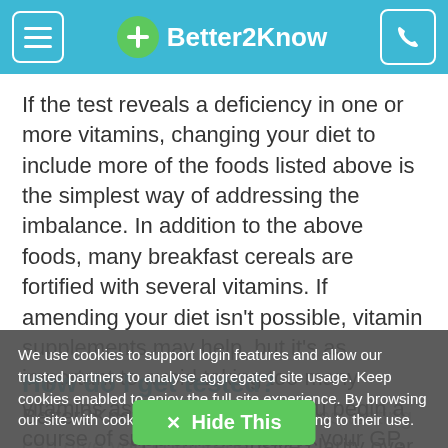Better2Know
If the test reveals a deficiency in one or more vitamins, changing your diet to include more of the foods listed above is the simplest way of addressing the imbalance. In addition to the above foods, many breakfast cereals are fortified with several vitamins. If amending your diet isn't possible, vitamin supplements may help, but it's as important to avoid taking too many vitamins as too few. Before you begin a course of supplements, talk to your GP.
We use cookies to support login features and allow our trusted partners to analyse aggregated site usage. Keep cookies enabled to enjoy the full site experience. By browsing our site with cookies enabled, you are agreeing to their use.
How do I get tested?
Better2Know Your Body vitamins testing can give you comprehensive clarity over your vitamin